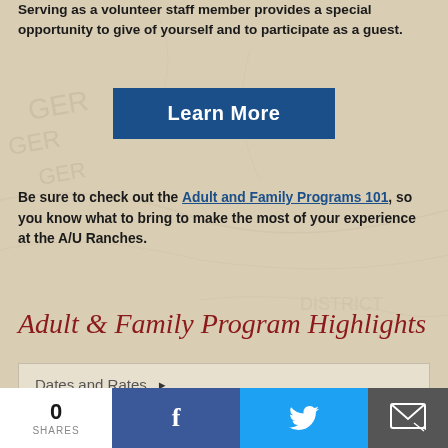Serving as a volunteer staff member provides a special opportunity to give of yourself and to participate as a guest.
[Figure (other): Blue 'Learn More' button]
Be sure to check out the Adult and Family Programs 101, so you know what to bring to make the most of your experience at the A/U Ranches.
Adult & Family Program Highlights
Dates and Rates
How to register
0 SHARES | Facebook | Twitter | Email